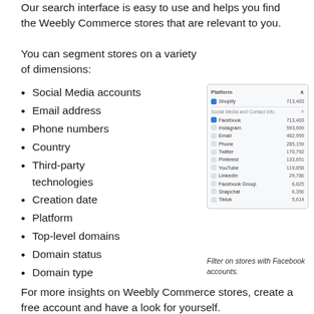Our search interface is easy to use and helps you find the Weebly Commerce stores that are relevant to you.
You can segment stores on a variety of dimensions:
Social Media accounts
Email address
Phone numbers
Country
Third-party technologies
Creation date
Platform
Top-level domains
Domain status
Domain type
[Figure (screenshot): Screenshot of a filter UI showing Platform section with Shopify (713,403) checked, and Social Media and Contact Info section with Facebook (713,403) checked, Instagram (593,669), Email (482,959), Phone (285,159), Twitter (170,792), Pinterest (133,651), YouTube (119,858), LinkedIn (29,786), Facebook Group (6,825), Snapchat (6,356), Tiktok (5,614)]
Filter on stores with Facebook accounts.
For more insights on Weebly Commerce stores, create a free account and have a look for yourself.